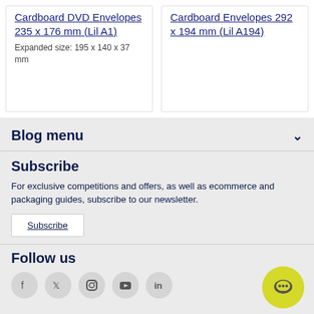Cardboard DVD Envelopes 235 x 176 mm (Lil A1)
Expanded size: 195 x 140 x 37 mm
Cardboard Envelopes 292 x 194 mm (Lil A194)
Blog menu
Subscribe
For exclusive competitions and offers, as well as ecommerce and packaging guides, subscribe to our newsletter.
Subscribe
Follow us